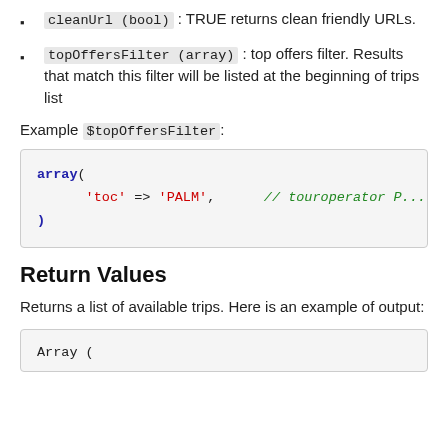cleanUrl (bool) : TRUE returns clean friendly URLs.
topOffersFilter (array) : top offers filter. Results that match this filter will be listed at the beginning of trips list
Example $topOffersFilter:
[Figure (screenshot): Code block showing: array(
    'toc' => 'PALM',    // touroperator P...]
Return Values
Returns a list of available trips. Here is an example of output:
[Figure (screenshot): Code block showing: Array (]